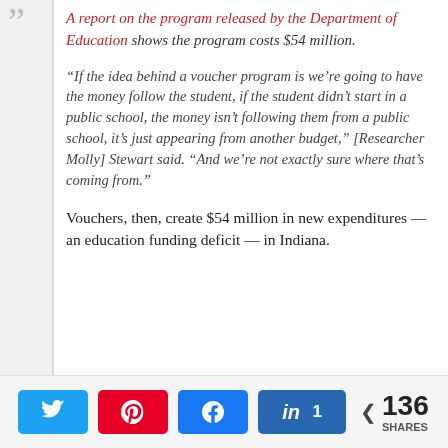A report on the program released by the Department of Education shows the program costs $54 million.
“If the idea behind a voucher program is we’re going to have the money follow the student, if the student didn’t start in a public school, the money isn’t following them from a public school, it’s just appearing from another budget,” [Researcher Molly] Stewart said. “And we’re not exactly sure where that’s coming from.”
Vouchers, then, create $54 million in new expenditures — an education funding deficit — in Indiana.
[Figure (infographic): Social sharing buttons: Twitter, Pinterest, Facebook, LinkedIn (1 share), and a share count of 136 SHARES]